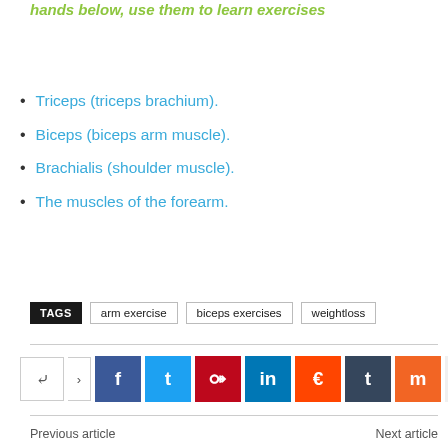we learn links to the training of individual parts of the hands below, use them to learn exercises
Triceps (triceps brachium).
Biceps (biceps arm muscle).
Brachialis (shoulder muscle).
The muscles of the forearm.
TAGS   arm exercise   biceps exercises   weightloss
[Figure (infographic): Social share buttons: share icon, arrow, Facebook, Twitter, Pinterest, LinkedIn, Reddit, Tumblr, Mix, plus more]
Previous article   Next article